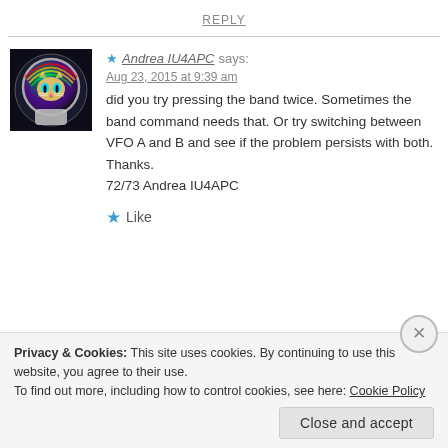REPLY
★ Andrea IU4APC says:
Aug 23, 2015 at 9:39 am
did you try pressing the band twice. Sometimes the band command needs that. Or try switching between VFO A and B and see if the problem persists with both.
Thanks.
72/73 Andrea IU4APC
★ Like
Privacy & Cookies: This site uses cookies. By continuing to use this website, you agree to their use.
To find out more, including how to control cookies, see here: Cookie Policy
Close and accept